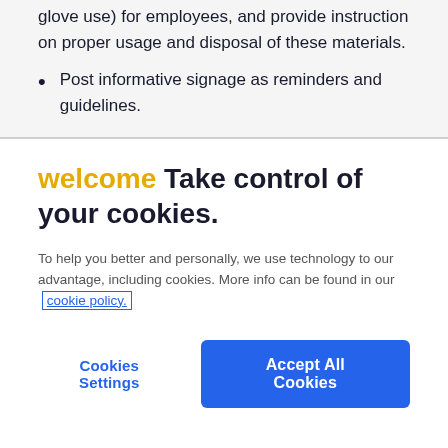glove use) for employees, and provide instruction on proper usage and disposal of these materials.
Post informative signage as reminders and guidelines.
welcome Take control of your cookies.
To help you better and personally, we use technology to our advantage, including cookies. More info can be found in our cookie policy.
Cookies Settings | Accept All Cookies